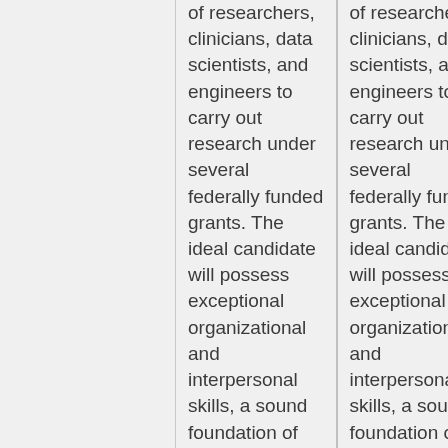of researchers, clinicians, data scientists, and engineers to carry out research under several federally funded grants. The ideal candidate will possess exceptional organizational and interpersonal skills, a sound foundation of technical skills and a strong desire to further build those skills during their tenure in the lab, and a passion for
of researchers, clinicians, data scientists, and engineers to carry out research under several federally funded grants. The ideal candidate will possess exceptional organizational and interpersonal skills, a sound foundation of technical skills and a strong desire to further build those skills during their tenure in the lab, and a passion for